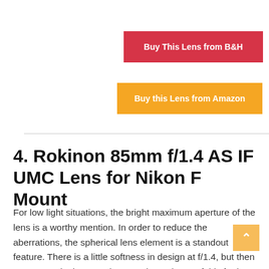Buy This Lens from B&H
Buy this Lens from Amazon
4. Rokinon 85mm f/1.4 AS IF UMC Lens for Nikon F Mount
For low light situations, the bright maximum aperture of the lens is a worthy mention. In order to reduce the aberrations, the spherical lens element is a standout feature. There is a little softness in design at f/1.4, but then most portrait photographers are in total awe of this for its 85mm focal length.